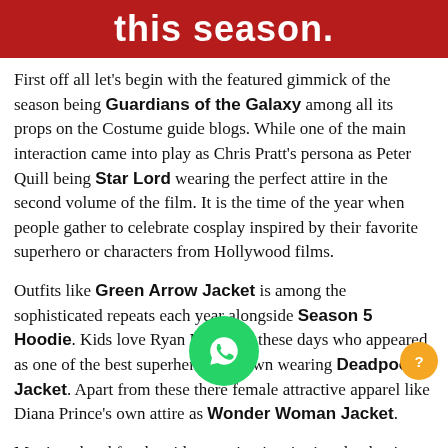this season.
First off all let's begin with the featured gimmick of the season being Guardians of the Galaxy among all its props on the Costume guide blogs. While one of the main interaction came into play as Chris Pratt's persona as Peter Quill being Star Lord wearing the perfect attire in the second volume of the film. It is the time of the year when people gather to celebrate cosplay inspired by their favorite superhero or characters from Hollywood films.
Outfits like Green Arrow Jacket is among the sophisticated repeats each year alongside Season 5 Hoodie. Kids love Ryan Reynolds these days who appeared as one of the best superheroes in town wearing Deadpool Jacket. Apart from these there female attractive apparel like Diana Prince's own attire as Wonder Woman Jacket.
Moving ahead for the video gaming inspiration that begins with Elder Maxson Outfit and reminds us t favorite above all creative cow-hide leather crafting. If y to look great thi mid-year Comic con for cosplay event that you have got to dres